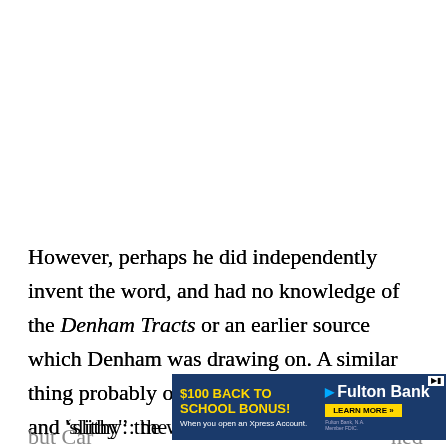However, perhaps he did independently invent the word, and had no knowledge of the Denham Tracts or an earlier source which Denham was drawing on. A similar thing probably occurred with Lewis Carroll and 'slithy': the word had been in use since the 1620s, a... (only); but Car... ned
[Figure (other): Advertisement banner for Fulton Bank '$100 BACK TO SCHOOL BONUS! When you open an Xpress Account.' with a LEARN MORE button. Blue background with yellow and white text.]